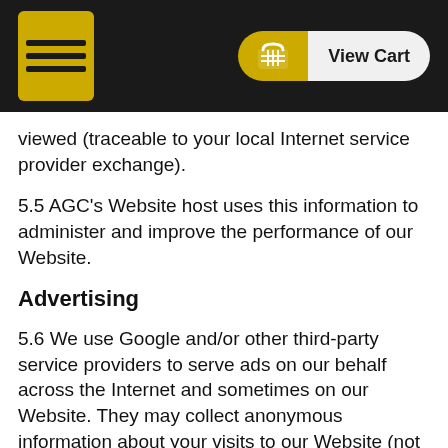Navigation bar with hamburger menu and View Cart button
viewed (traceable to your local Internet service provider exchange).
5.5 AGC's Website host uses this information to administer and improve the performance of our Website.
Advertising
5.6 We use Google and/or other third-party service providers to serve ads on our behalf across the Internet and sometimes on our Website. They may collect anonymous information about your visits to our Website (not including your name, address, email address or telephone number), and your interaction with our products and services. They may also use information about your visits to the